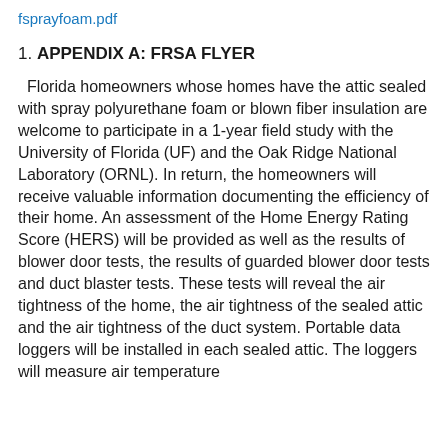fsprayfoam.pdf
1. APPENDIX A: FRSA FLYER
Florida homeowners whose homes have the attic sealed with spray polyurethane foam or blown fiber insulation are welcome to participate in a 1-year field study with the University of Florida (UF) and the Oak Ridge National Laboratory (ORNL). In return, the homeowners will receive valuable information documenting the efficiency of their home. An assessment of the Home Energy Rating Score (HERS) will be provided as well as the results of blower door tests, the results of guarded blower door tests and duct blaster tests. These tests will reveal the air tightness of the home, the air tightness of the sealed attic and the air tightness of the duct system. Portable data loggers will be installed in each sealed attic. The loggers will measure air temperature